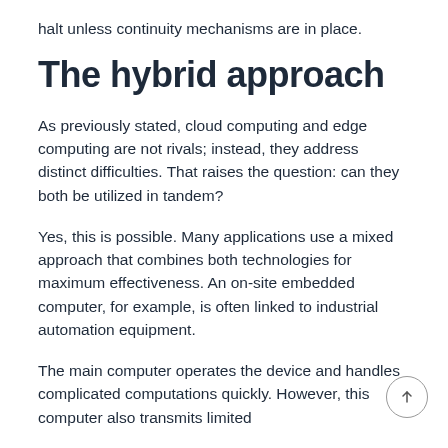halt unless continuity mechanisms are in place.
The hybrid approach
As previously stated, cloud computing and edge computing are not rivals; instead, they address distinct difficulties. That raises the question: can they both be utilized in tandem?
Yes, this is possible. Many applications use a mixed approach that combines both technologies for maximum effectiveness. An on-site embedded computer, for example, is often linked to industrial automation equipment.
The main computer operates the device and handles complicated computations quickly. However, this computer also transmits limited